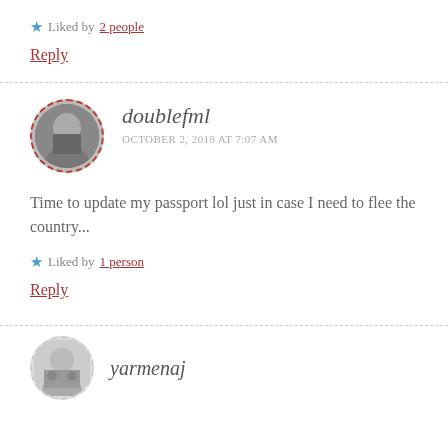Liked by 2 people
Reply
doublefml
OCTOBER 2, 2018 AT 7:07 AM
Time to update my passport lol just in case I need to flee the country...
Liked by 1 person
Reply
yarmenaj